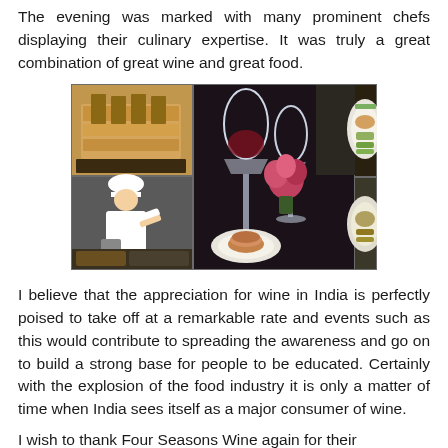The evening was marked with many prominent chefs displaying their culinary expertise. It was truly a great combination of great wine and great food.
[Figure (photo): A photo collage of four images: top-left shows food items on display, bottom-left shows a chef in white uniform and hat, center shows wine glasses and a plated dish on a dark tablecloth with pink flowers, top-right shows a plated dish with garnish, bottom-right shows another plated dish.]
I believe that the appreciation for wine in India is perfectly poised to take off at a remarkable rate and events such as this would contribute to spreading the awareness and go on to build a strong base for people to be educated. Certainly with the explosion of the food industry it is only a matter of time when India sees itself as a major consumer of wine.
I wish to thank Four Seasons Wine again for their